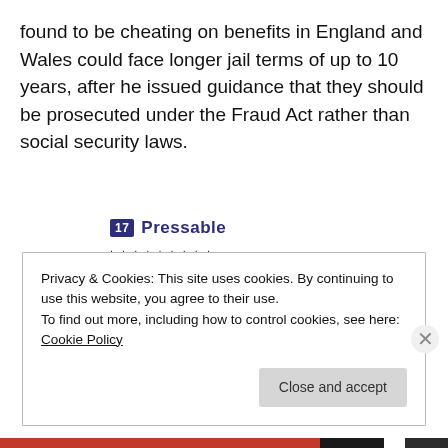found to be cheating on benefits in England and Wales could face longer jail terms of up to 10 years, after he issued guidance that they should be prosecuted under the Fraud Act rather than social security laws.
[Figure (logo): Pressable logo with icon and dotted separator line]
The Platform Where WordPress Works Best
Privacy & Cookies: This site uses cookies. By continuing to use this website, you agree to their use.
To find out more, including how to control cookies, see here: Cookie Policy
Close and accept